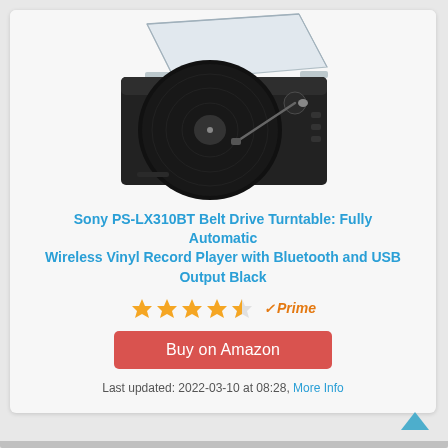[Figure (photo): Sony PS-LX310BT belt drive turntable product photo showing a black turntable with a clear dust cover open, tonearm visible on right side, viewed from above at an angle. White background.]
Sony PS-LX310BT Belt Drive Turntable: Fully Automatic Wireless Vinyl Record Player with Bluetooth and USB Output Black
[Figure (other): 4 and a half gold stars rating, followed by Amazon Prime badge with checkmark]
[Figure (other): Red button reading 'Buy on Amazon']
Last updated: 2022-03-10 at 08:28, More Info
[Figure (other): Teal upward-pointing chevron arrow button in bottom right corner]